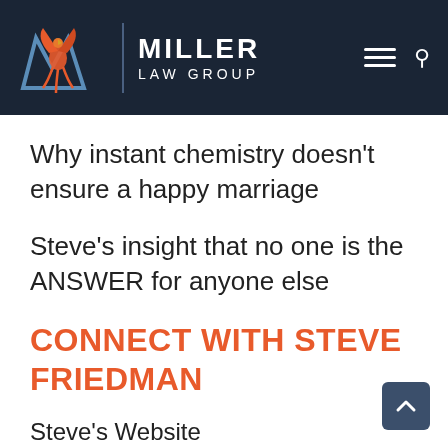[Figure (logo): Miller Law Group logo with phoenix bird and stylized M letter on dark navy background, with hamburger menu and search icon on right]
Why instant chemistry doesn’t ensure a happy marriage
Steve’s insight that no one is the ANSWER for anyone else
CONNECT WITH STEVE FRIEDMAN
Steve’s Website